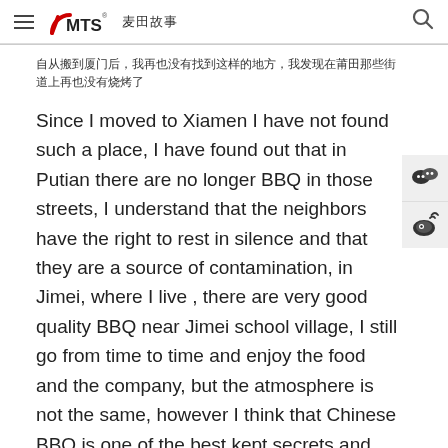≡ MTS 麦田故事 🔍
自从搬到厦门后，我再也没有找到这样的地方，我发现在莆田那些街道上再也没有烧烤了
Since I moved to Xiamen I have not found such a place, I have found out that in Putian there are no longer BBQ in those streets, I understand that the neighbors have the right to rest in silence and that they are a source of contamination, in Jimei, where I live , there are very good quality BBQ near Jimei school village, I still go from time to time and enjoy the food and the company, but the atmosphere is not the same, however I think that Chinese BBQ is one of the best kept secrets and that I will recommend to anyone who comes here for the first time.
自从搬到厦门后，我再也没有找到这样的地方，我发现在莆田那些街道上再也没有烧烤了，我理解邻居们有权利安静休息，他们是污染源，在我居住的集美，集美学村附近有非常好品质的烧烤，我偶尔还是会去享受美食和陪伴，但气氛已经不一样了，不过我认为中国烧烤是最好的秘密之一，我会向任何第一次来这里的人推荐。